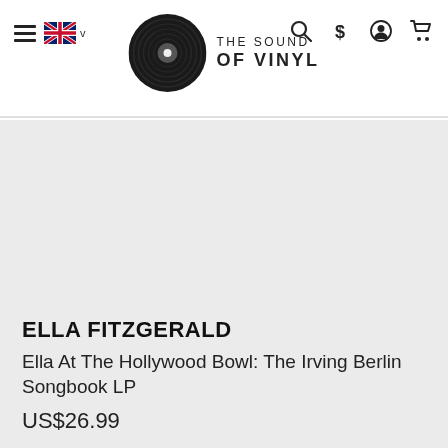THE SOUND OF VINYL — navigation header with hamburger menu, UK flag, search, dollar, account, and cart icons
[Figure (logo): The Sound Of Vinyl logo: vinyl record disc icon on the left, text 'THE SOUND OF VINYL' on the right]
ELLA FITZGERALD
Ella At The Hollywood Bowl: The Irving Berlin Songbook LP
US$26.99